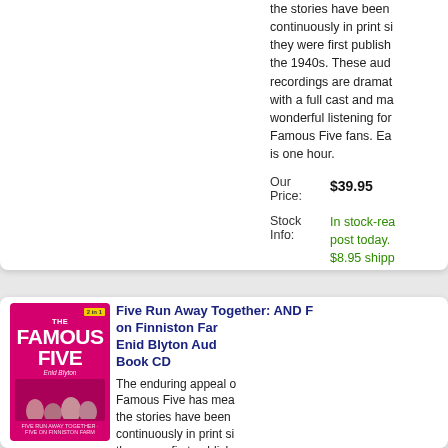the stories have been continuously in print since they were first published in the 1940s. These audio recordings are dramatised with a full cast and make wonderful listening for Famous Five fans. Each is one hour.
Our Price: $39.95
Stock Info: In stock-ready to post today. $8.95 shipping Australia-wi...
[Figure (photo): The Famous Five audiobook CD cover with pink background showing children figures]
Five Run Away Together: AND Five on Finniston Farm: Enid Blyton Audio Book CD
The enduring appeal of Famous Five has meant the stories have been continuously in print since they were first published in the 1940s. Th...